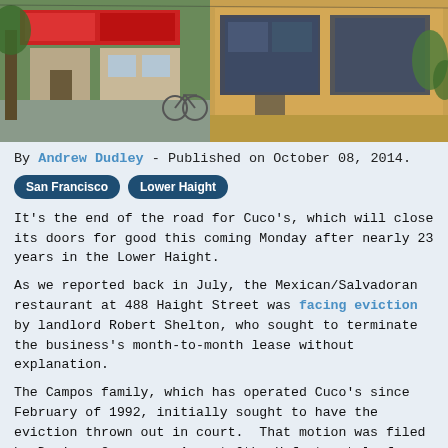[Figure (photo): Street-level photo of storefronts in the Lower Haight neighborhood of San Francisco, showing two buildings side by side — one with red signage and a bicycle parked outside, the other a tan/yellow building with large windows.]
By Andrew Dudley - Published on October 08, 2014.
San Francisco   Lower Haight
It's the end of the road for Cuco's, which will close its doors for good this coming Monday after nearly 23 years in the Lower Haight.
As we reported back in July, the Mexican/Salvadoran restaurant at 488 Haight Street was facing eviction by landlord Robert Shelton, who sought to terminate the business's month-to-month lease without explanation.
The Campos family, which has operated Cuco's since February of 1992, initially sought to have the eviction thrown out in court.  That motion was filed by Domingo Campos on August 6th. Unfortunately for Cuco's, the motion was officially denied on August 27th.